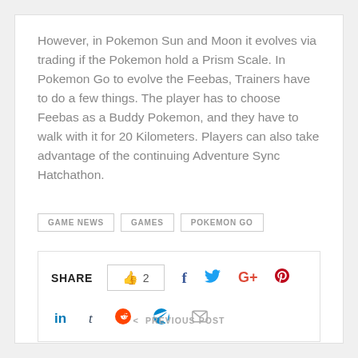However, in Pokemon Sun and Moon it evolves via trading if the Pokemon hold a Prism Scale. In Pokemon Go to evolve the Feebas, Trainers have to do a few things. The player has to choose Feebas as a Buddy Pokemon, and they have to walk with it for 20 Kilometers. Players can also take advantage of the continuing Adventure Sync Hatchathon.
GAME NEWS
GAMES
POKEMON GO
SHARE  👍 2  f  🐦  G+  🅿  in  t  reddit  telegram  ✉
< PREVIOUS POST